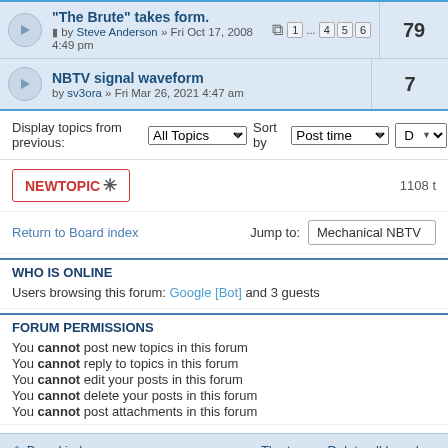"The Brute" takes form. by Steve Anderson » Fri Oct 17, 2008 4:49 pm | pages 1 ... 4 5 6 | replies: 79
NBTV signal waveform by sv3ora » Fri Mar 26, 2021 4:47 am | replies: 7
Display topics from previous: All Topics  Sort by  Post time
NEWTOPIC * | 1108 t
Return to Board index | Jump to: Mechanical NBTV
WHO IS ONLINE
Users browsing this forum: Google [Bot] and 3 guests
FORUM PERMISSIONS
You cannot post new topics in this forum
You cannot reply to topics in this forum
You cannot edit your posts in this forum
You cannot delete your posts in this forum
You cannot post attachments in this forum
Board index | The team • Delete all board co
Powered by phpBB® Forum Software © phpBB Gr